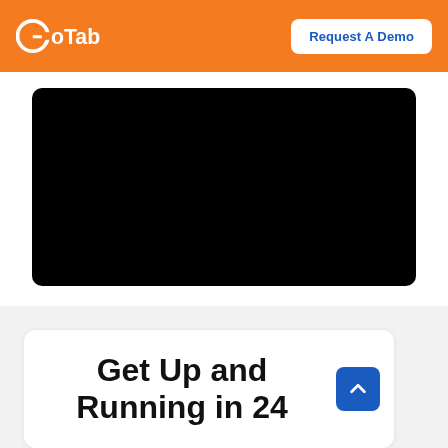GoTab | Request A Demo
[Figure (screenshot): Black rectangle representing an embedded video player]
Get Up and Running in 24